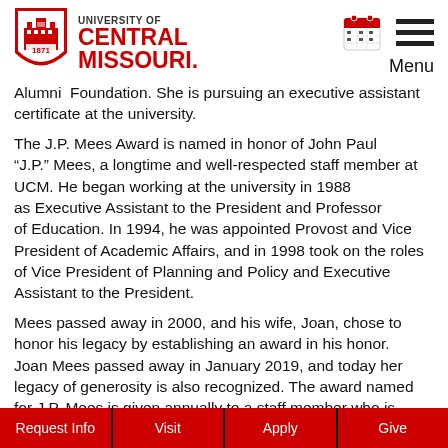[Figure (logo): University of Central Missouri logo with shield and text]
Alumni Foundation. She is pursuing an executive assistant certificate at the university.
The J.P. Mees Award is named in honor of John Paul “J.P.” Mees, a longtime and well-respected staff member at UCM. He began working at the university in 1988 as Executive Assistant to the President and Professor of Education. In 1994, he was appointed Provost and Vice President of Academic Affairs, and in 1998 took on the roles of Vice President of Planning and Policy and Executive Assistant to the President.
Mees passed away in 2000, and his wife, Joan, chose to honor his legacy by establishing an award in his honor. Joan Mees passed away in January 2019, and today her legacy of generosity is also recognized. The award named for J.P. Mees is given annually to a staff member who is classified as non-exempt and who has
Request Info  Visit  Apply  Give